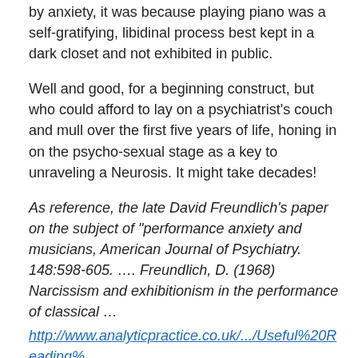by anxiety, it was because playing piano was a self-gratifying, libidinal process best kept in a dark closet and not exhibited in public.
Well and good, for a beginning construct, but who could afford to lay on a psychiatrist's couch and mull over the first five years of life, honing in on the psycho-sexual stage as a key to unraveling a Neurosis. It might take decades!
As reference, the late David Freundlich's paper on the subject of "performance anxiety and musicians, American Journal of Psychiatry. 148:598-605. …. Freundlich, D. (1968) Narcissism and exhibitionism in the performance of classical … http://www.analyticpractice.co.uk/.../Useful%20Reading%20on%20Performance.pdf&#8221;
For me, talking to my hypnotist who had her Certification